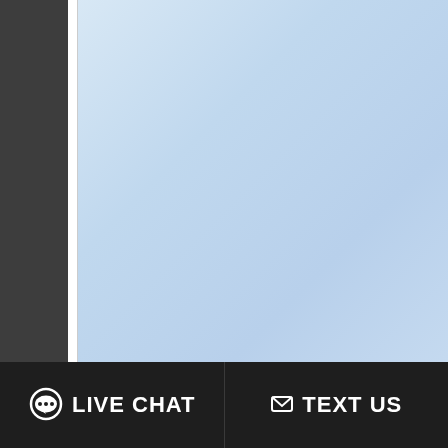[Figure (screenshot): Screenshot of a medical/addiction treatment facility directory website. Left portion shows a large blue gradient panel. Right portion shows white cards with teal-colored text. One card shows '2560' (partial number). Another card shows 'Additional Services O...' with subtitle 'Addiction Treatment P...' and 'Specialty Progra...' with subtitle 'Persons With Co-Occurring... Substance Abuse Dis...']
2560
Additional Services O
Addiction Treatment P
Specialty Progra
Persons With Co-Occurring Substance Abuse Dis
LIVE CHAT   TEXT US